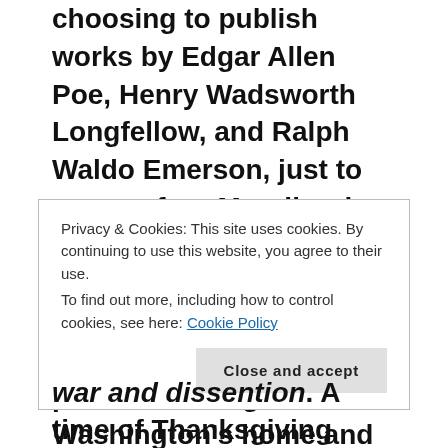choosing to publish works by Edgar Allen Poe, Henry Wadsworth Longfellow, and Ralph Waldo Emerson, just to name a few. Morally, she wished for uplifting novels and work. She raised money for various historic sites-helping to preserve George Washington's home and financially supporting the construction of the Bunker Hill Monument.
Using her persuasive writing skills (and MUCH patience) Sarah spent seventeen years writing to leading U.S. presidents and politicians to push for a national
Privacy & Cookies: This site uses cookies. By continuing to use this website, you agree to their use.
To find out more, including how to control cookies, see here: Cookie Policy
[Close and accept]
war and dissention. A time of Thanksgiving